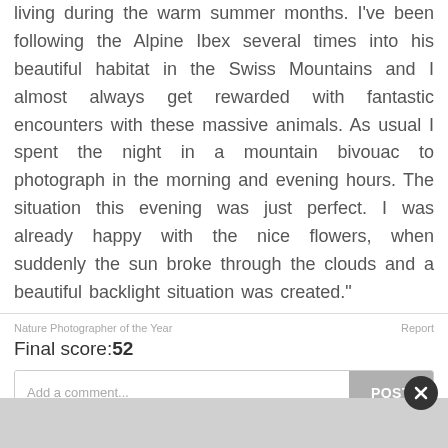living during the warm summer months. I've been following the Alpine Ibex several times into his beautiful habitat in the Swiss Mountains and I almost always get rewarded with fantastic encounters with these massive animals. As usual I spent the night in a mountain bivouac to photograph in the morning and evening hours. The situation this evening was just perfect. I was already happy with the nice flowers, when suddenly the sun broke through the clouds and a beautiful backlight situation was created."
Nature Photographer of the Year
Report
Final score:52
Add a comment...
POST
ForgotMyPWSendHelp 8 months ago
Lovely.
2 Reply